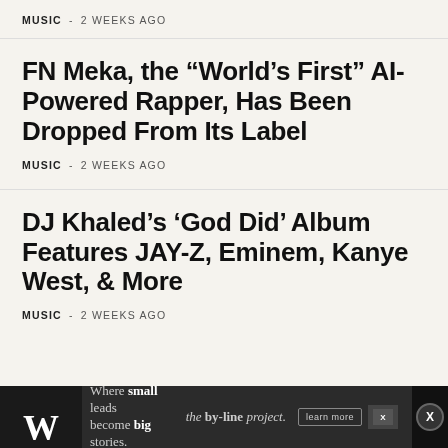MUSIC - 2 WEEKS AGO
FN Meka, the “World’s First” AI-Powered Rapper, Has Been Dropped From Its Label
MUSIC - 2 WEEKS AGO
DJ Khaled’s ‘God Did’ Album Features JAY-Z, Eminem, Kanye West, & More
MUSIC - 2 WEEKS AGO
[Figure (infographic): Advertisement banner: Where small leads become big stories. the by-line project. learn more button. Close button X on right.]